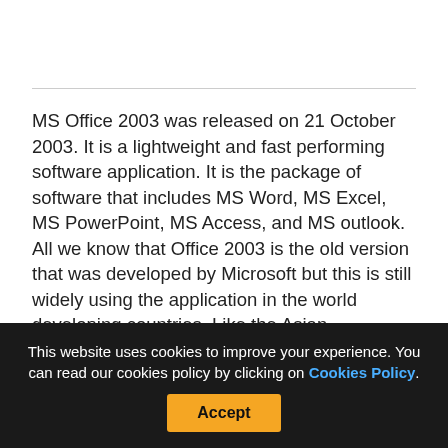MS Office 2003 was released on 21 October 2003. It is a lightweight and fast performing software application. It is the package of software that includes MS Word, MS Excel, MS PowerPoint, MS Access, and MS outlook. All we know that Office 2003 is the old version that was developed by Microsoft but this is still widely using the application in the world developing countries. Like the Asian
This website uses cookies to improve your experience. You can read our cookies policy by clicking on Cookies Policy. Accept